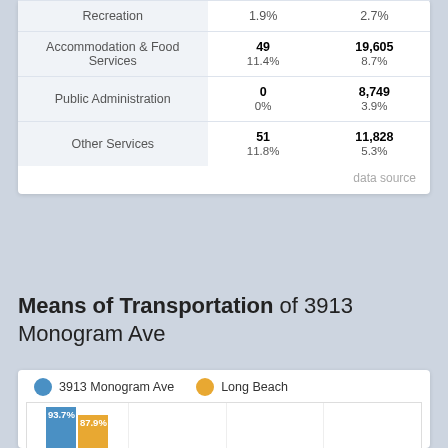| Industry | 3913 Monogram Ave | Long Beach |
| --- | --- | --- |
| Recreation | 1.9% | 2.7% |
| Accommodation & Food Services | 49
11.4% | 19,605
8.7% |
| Public Administration | 0
0% | 8,749
3.9% |
| Other Services | 51
11.8% | 11,828
5.3% |
data source
Means of Transportation of 3913 Monogram Ave
[Figure (grouped-bar-chart): Means of Transportation]